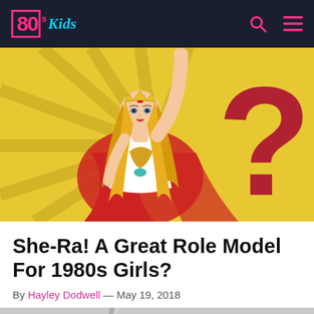80s Kids
[Figure (illustration): Animated She-Ra character with arm raised against a yellow sunburst background, with a large red question mark on the right side. She is wearing her iconic white and red costume with golden accessories.]
She-Ra! A Great Role Model For 1980s Girls?
By Hayley Dodwell — May 19, 2018
[Figure (illustration): Partial view of She-Ra's sword and crest emblem against a grey background, visible at the bottom of the page.]